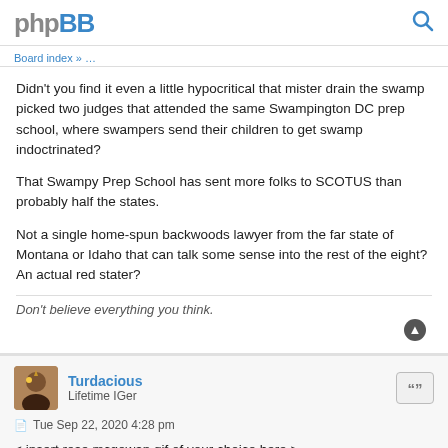phpBB
Didn't you find it even a little hypocritical that mister drain the swamp picked two judges that attended the same Swampington DC prep school, where swampers send their children to get swamp indoctrinated?

That Swampy Prep School has sent more folks to SCOTUS than probably half the states.

Not a single home-spun backwoods lawyer from the far state of Montana or Idaho that can talk some sense into the rest of the eight? An actual red stater?
Don't believe everything you think.
Turdacious
Lifetime IGer
Tue Sep 22, 2020 4:28 pm
< insert rose mcgowan gif of your choice here >